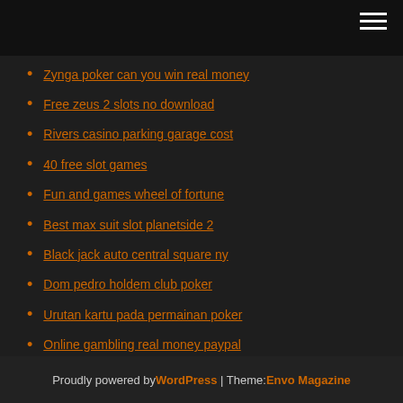[Figure (other): Dark top navigation bar with hamburger menu icon (three white horizontal lines) in the top-right corner]
Zynga poker can you win real money
Free zeus 2 slots no download
Rivers casino parking garage cost
40 free slot games
Fun and games wheel of fortune
Best max suit slot planetside 2
Black jack auto central square ny
Dom pedro holdem club poker
Urutan kartu pada permainan poker
Online gambling real money paypal
Spotlight 29 casino coachella california
Proudly powered by WordPress | Theme: Envo Magazine